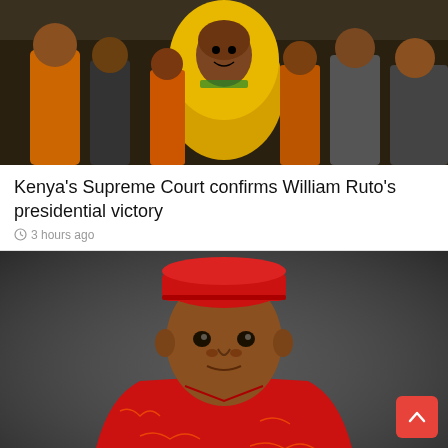[Figure (photo): Crowd of supporters holding a yellow shirt with a portrait face on it, outdoor political rally setting]
Kenya’s Supreme Court confirms William Ruto’s presidential victory
3 hours ago
[Figure (photo): Portrait of a man wearing a red cap and red patterned traditional attire, posed against a dark grey background]
APC parallel primaries: Group makes clarification on litigations by Abia Guber candidate, Uche Ogah
5 hours ago